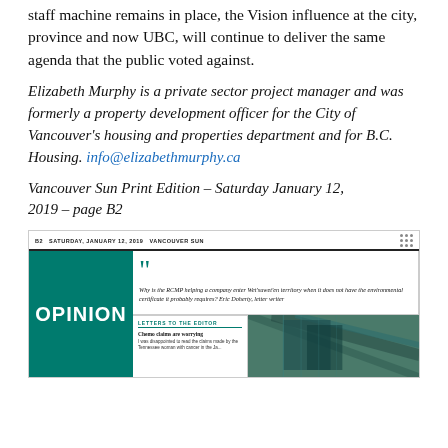staff machine remains in place, the Vision influence at the city, province and now UBC, will continue to deliver the same agenda that the public voted against.
Elizabeth Murphy is a private sector project manager and was formerly a property development officer for the City of Vancouver's housing and properties department and for B.C. Housing. info@elizabethmurphy.ca
Vancouver Sun Print Edition – Saturday January 12, 2019 – page B2
[Figure (screenshot): Newspaper page mockup showing Vancouver Sun B2 page, Saturday January 12 2019, with Opinion section header in teal/green, a pull quote about RCMP and Wet'suwet'en territory, Letters to the Editor section with 'Chemo claims are worrying' headline, and a building photo.]